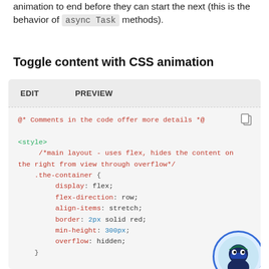animation to end before they can start the next (this is the behavior of async Task methods).
Toggle content with CSS animation
[Figure (screenshot): Code editor panel showing CSS code with EDIT and PREVIEW tabs. Code has syntax highlighting: green for HTML tags, red for CSS properties and comments, blue for numeric values. A ninja avatar appears in bottom right corner of the panel. Code shown includes <style>, .the-container selector with display:flex, flex-direction:row, align-items:stretch, border:2px solid red, min-height:300px, overflow:hidden, and a comment about inner layout with .the-container .expanded { width: 100%;]